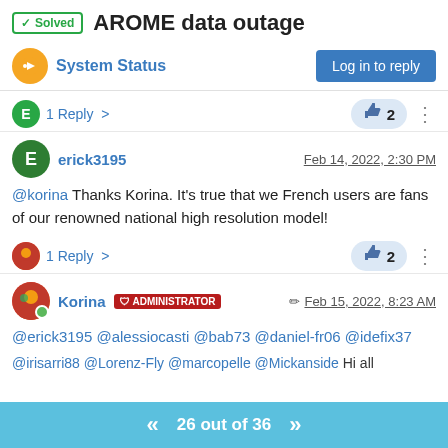✓ Solved  AROME data outage
System Status
1 Reply >   👍 2   ···
erick3195   Feb 14, 2022, 2:30 PM
@korina Thanks Korina. It's true that we French users are fans of our renowned national high resolution model!
1 Reply >   👍 2   ···
Korina  ADMINISTRATOR   Feb 15, 2022, 8:23 AM
@erick3195 @alessiocasti @bab73 @daniel-fr06 @idefix37 @irisarri88 @Lorenz-Fly @marcopelle @Mickanside Hi all
26 out of 36